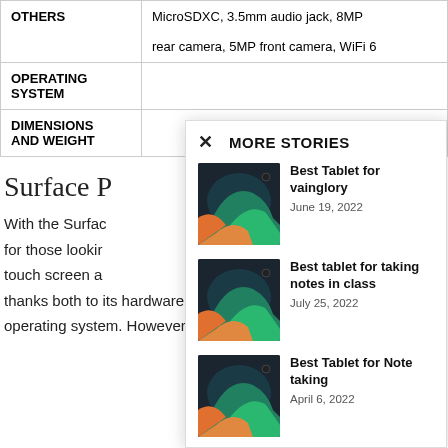|  |  |
| --- | --- |
| OTHERS | MicroSDXC, 3.5mm audio jack, 8MP rear camera, 5MP front camera, WiFi 6 |
| OPERATING SYSTEM |  |
| DIMENSIONS AND WEIGHT |  |
Surface P
With the Surfac for those lookir touch screen a thanks both to its hardware and to having Windows 10 as an operating system. However, it has Intel Iris Xe graphics, a state-
[Figure (other): Modal overlay popup titled MORE STORIES with three story items: 1) Best Tablet for vainglory, June 19, 2022; 2) Best tablet for taking notes in class, July 25, 2022; 3) Best Tablet for Note taking, April 6, 2022. Each has a thumbnail image of a dark tablet.]